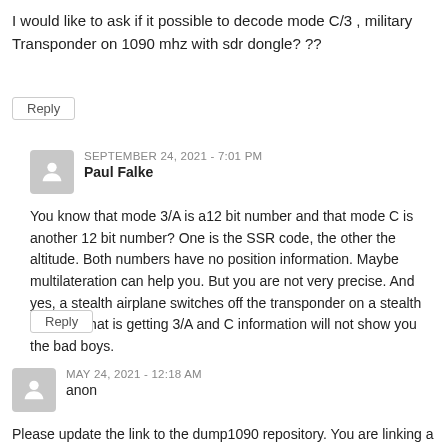I would like to ask if it possible to decode mode C/3 , military Transponder on 1090 mhz with sdr dongle? ??
Reply
SEPTEMBER 24, 2021 - 7:01 PM
Paul Falke
You know that mode 3/A is a12 bit number and that mode C is another 12 bit number? One is the SSR code, the other the altitude. Both numbers have no position information. Maybe multilateration can help you. But you are not very precise. And yes, a stealth airplane switches off the transponder on a stealth mission, that is getting 3/A and C information will not show you the bad boys.
Reply
MAY 24, 2021 - 12:18 AM
anon
Please update the link to the dump1090 repository. You are linking a fork that hasn't been updated in 8+ years.